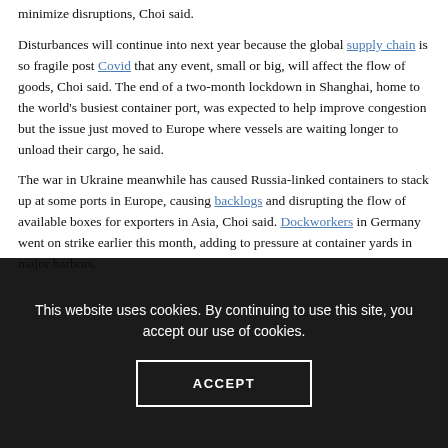minimize disruptions, Choi said.
Disturbances will continue into next year because the global supply chain is so fragile post Covid that any event, small or big, will affect the flow of goods, Choi said. The end of a two-month lockdown in Shanghai, home to the world's busiest container port, was expected to help improve congestion but the issue just moved to Europe where vessels are waiting longer to unload their cargo, he said.
The war in Ukraine meanwhile has caused Russia-linked containers to stack up at some ports in Europe, causing backlogs and disrupting the flow of available boxes for exporters in Asia, Choi said. Dockworkers in Germany went on strike earlier this month, adding to pressure at container yards in major harbors.
This website uses cookies. By continuing to use this site, you accept our use of cookies.
ACCEPT